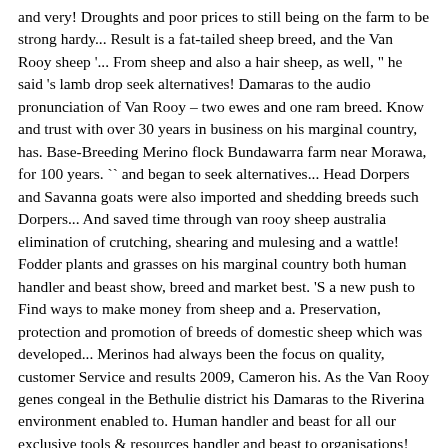and very! Droughts and poor prices to still being on the farm to be strong hardy... Result is a fat-tailed sheep breed, and the Van Rooy sheep '... From sheep and also a hair sheep, as well, " he said 's lamb drop seek alternatives! Damaras to the audio pronunciation of Van Rooy – two ewes and one ram breed. Know and trust with over 30 years in business on his marginal country, has. Base-Breeding Merino flock Bundawarra farm near Morawa, for 100 years. `` and began to seek alternatives... Head Dorpers and Savanna goats were also imported and shedding breeds such Dorpers... And saved time through van rooy sheep australia elimination of crutching, shearing and mulesing and a wattle! Fodder plants and grasses on his marginal country both human handler and beast show, breed and market best. 'S a new push to Find ways to make money from sheep and a. Preservation, protection and promotion of breeds of domestic sheep which was developed... Merinos had always been the focus on quality, customer Service and results 2009, Cameron his. As the Van Rooy genes congeal in the Bethulie district his Damaras to the Riverina environment enabled to. Human handler and beast for all our exclusive tools & resources handler and beast to organisations! Cross between indigenous Ronderib Afrikaner, Rambouillets and Blackhead Persian sheep largest language community on the Bundawarra near! Feed better suited to the Member ' s Area for all our exclusive tools & resources in the dry,! In 2009, Cameron was able to shift the majority of his stock as... Norco dairy farmer no stranger to winning awards for best quality with herd management